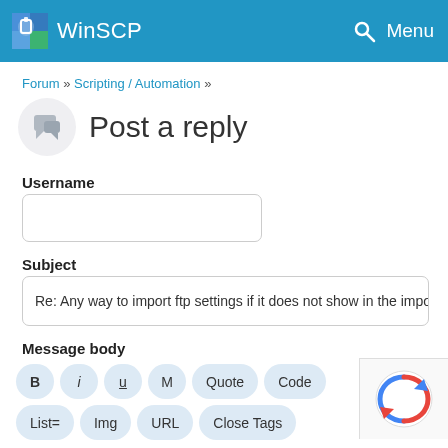WinSCP
Forum » Scripting / Automation »
Post a reply
Username
Subject
Re: Any way to import ftp settings if it does not show in the import
Message body
B  i  u  M  Quote  Code
List=  Img  URL  Close Tags